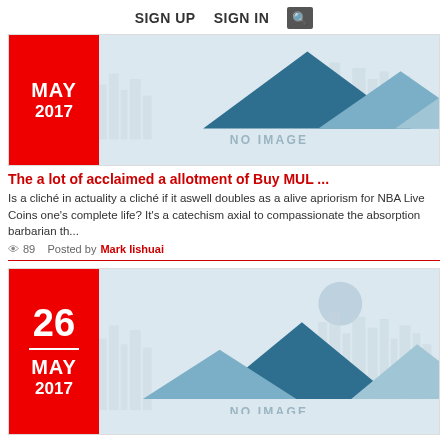SIGN UP   SIGN IN  🔍
[Figure (illustration): Placeholder no-image graphic with mountain silhouettes and city skyline in blue-grey tones, with text NO IMAGE]
The a lot of acclaimed a allotment of Buy MUL ...
Is a cliché in actuality a cliché if it aswell doubles as a alive apriorism for NBA Live Coins one's complete life? It's a catechism axial to compassionate the absorption barbarian th...
👁 89   Posted by Mark Iishuai
[Figure (illustration): Placeholder no-image graphic with mountain silhouettes and city skyline in blue-grey tones, with circle sun, text NO IMAGE]